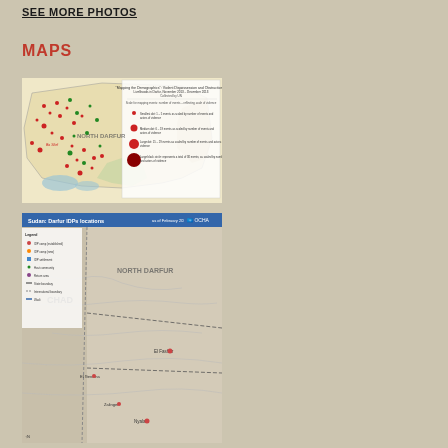SEE MORE PHOTOS
MAPS
[Figure (map): Map of North Darfur showing locations of events/incidents marked with red and green dots of varying sizes, with a legend explaining dot sizes correspond to number of events and actors of violence. Title references mapping the demographics: violent dispossession and obstruction of livelihoods in Darfur, November 2013 - December 2013.]
[Figure (map): Sudan: Darfur IDPs locations map as of February 2014, published by UN OCHA. Shows Darfur region with Chad border to the west, North Darfur region labeled, with locations marked. Legend on left side shows various IDP camp and settlement types.]